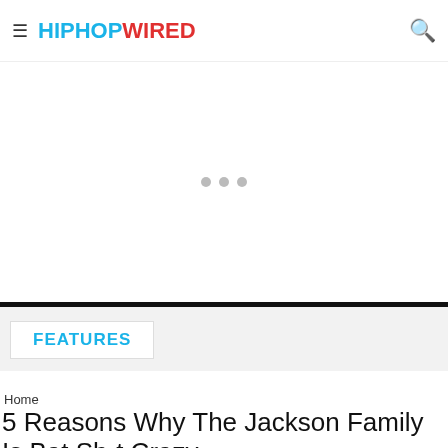≡ HIPHOPWIRED 🔍
[Figure (other): Advertisement placeholder area with three gray dots indicating loading content]
FEATURES
Home
5 Reasons Why The Jackson Family Is Bat Sh-t Crazy